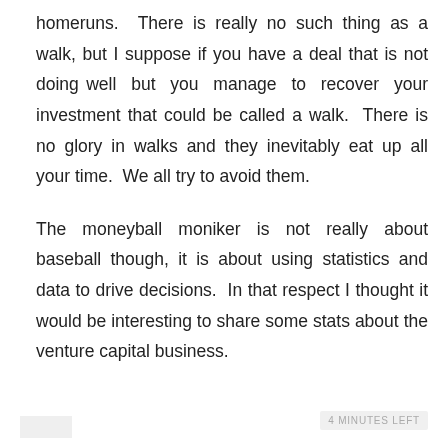homeruns.  There is really no such thing as a walk, but I suppose if you have a deal that is not doing well  but  you  manage  to  recover  your investment that could be called a walk.  There is no glory in walks and they inevitably eat up all your time.  We all try to avoid them.
The moneyball moniker is not really about baseball though, it is about using statistics and data to drive decisions.  In that respect I thought it would be interesting to share some stats about the venture capital business.
4 MINUTES LEFT